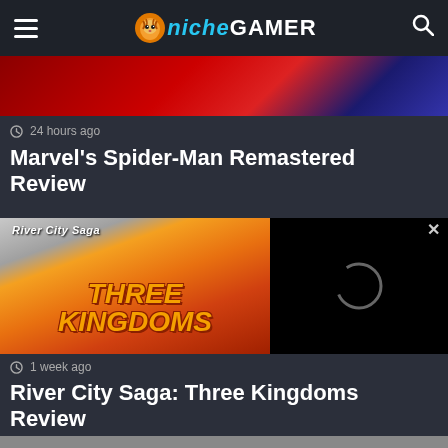Niche Gamer
[Figure (screenshot): Red and blue abstract game banner image (top portion of Marvel's Spider-Man Remastered article card)]
24 hours ago
Marvel's Spider-Man Remastered Review
[Figure (screenshot): River City Saga: Three Kingdoms game cover art with 'THREE KINGDOMS' in large orange stylized text, with an overlay video player showing a loading spinner on black background, with an X close button]
1 week ago
River City Saga: Three Kingdoms Review
[Figure (screenshot): Bottom strip of a third article card (partially visible)]